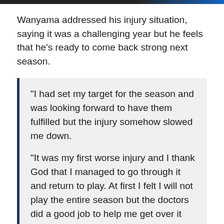Wanyama addressed his injury situation, saying it was a challenging year but he feels that he's ready to come back strong next season.
“I had set my target for the season and was looking forward to have them fulfilled but the injury somehow slowed me down.

“It was my first worse injury and I thank God that I managed to go through it and return to play. At first I felt I will not play the entire season but the doctors did a good job to help me get over it and kick the ball again.”
With Spurs already probably losing Dembele and Harry Winks having surgery, it seems a little nuts to think that